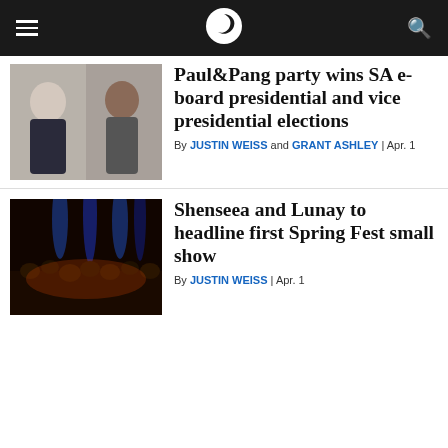Navigation bar with hamburger menu, publication logo (S), and search icon
[Figure (photo): Two women posed outdoors, one wearing glasses]
Paul&Pang party wins SA e-board presidential and vice presidential elections
By JUSTIN WEISS and GRANT ASHLEY | Apr. 1
[Figure (photo): Concert crowd scene with blue lights and performers on stage]
Shenseea and Lunay to headline first Spring Fest small show
By JUSTIN WEISS | Apr. 1